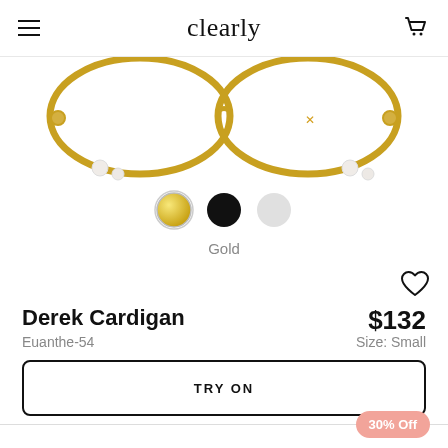clearly
[Figure (photo): Partial top view of gold-colored round eyeglasses frames on white background]
[Figure (other): Color swatches: gold (selected with border), black, and light gray/white circles]
Gold
Derek Cardigan
Euanthe-54
$132
Size: Small
TRY ON
30% Off